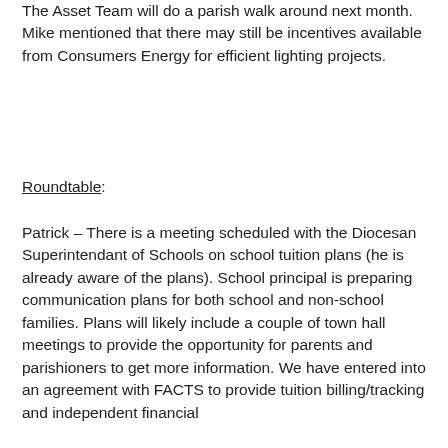The Asset Team will do a parish walk around next month.  Mike mentioned that there may still be incentives available from Consumers Energy for efficient lighting projects.
Roundtable:
Patrick – There is a meeting scheduled with the Diocesan Superintendant of Schools on school tuition plans (he is already aware of the plans). School principal is preparing communication plans for both school and non-school families. Plans will likely include a couple of town hall meetings to provide the opportunity for parents and parishioners to get more information.  We have entered into an agreement with FACTS to provide tuition billing/tracking and independent financial